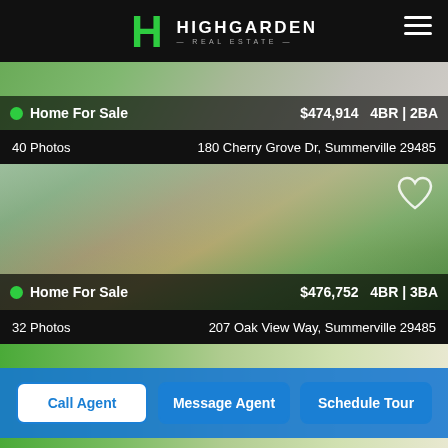[Figure (logo): Highgarden Real Estate logo with green H symbol on black header bar]
[Figure (photo): Exterior photo of home listing 1 - lawn and driveway view]
Home For Sale  $474,914  4BR | 2BA
40 Photos  180 Cherry Grove Dr, Summerville 29485
[Figure (photo): Exterior photo of home listing 2 - two-story house with brick lower level and blue siding, green lawn]
Home For Sale  $476,752  4BR | 3BA
32 Photos  207 Oak View Way, Summerville 29485
[Figure (photo): Partial exterior photo of listing 3 at bottom of page]
Call Agent
Message Agent
Schedule Tour